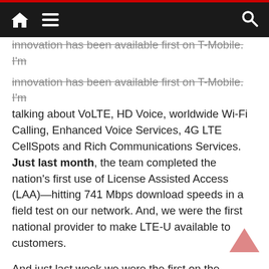Navigation bar with home, menu, and search icons
innovation has been available first on T-Mobile. I'm talking about VoLTE, HD Voice, worldwide Wi-Fi Calling, Enhanced Voice Services, 4G LTE CellSpots and Rich Communications Services. Just last month, the team completed the nation's first use of License Assisted Access (LAA)—hitting 741 Mbps download speeds in a field test on our network. And, we were the first national provider to make LTE-U available to customers.
And just last week we were the first on the continent to successfully complete Narrowband IoT field tests on a live commercial network. Of course last year we had already achieved a global first with 4×4 MIMO and were first with 256 QAM – technologies that significantly improve speed and performance for customers. Now we have these